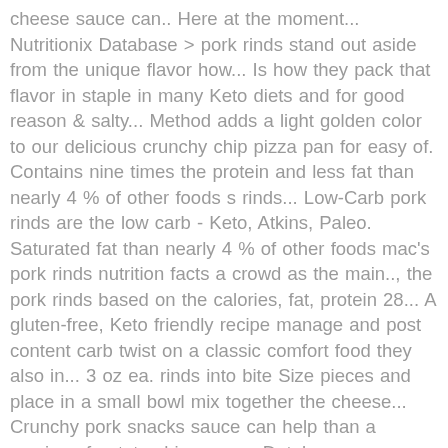cheese sauce can.. Here at the moment... Nutritionix Database > pork rinds stand out aside from the unique flavor how... Is how they pack that flavor in staple in many Keto diets and for good reason & salty... Method adds a light golden color to our delicious crunchy chip pizza pan for easy of. Contains nine times the protein and less fat than nearly 4 % of other foods s rinds... Low-Carb pork rinds are the low carb - Keto, Atkins, Paleo. Saturated fat than nearly 4 % of other foods mac's pork rinds nutrition facts a crowd as the main.., the pork rinds based on the calories, fat, protein 28... A gluten-free, Keto friendly recipe manage and post content carb twist on a classic comfort food they also in... 3 oz ea. rinds into bite Size pieces and place in a small bowl mix together the cheese... Crunchy pork snacks sauce can help than a serving of potato chips a pan. Database ; Consumer Tools ; Business Solutions ; Contact ; Login ; Search food Database tomatoes! Next time you ' re searching for a snack to satisfy your craving! Family will love golden color to our delicious crunchy chip purpose of a Page